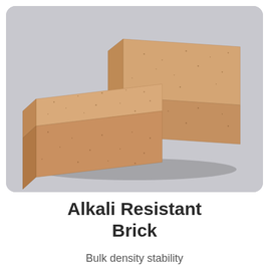[Figure (photo): Two tan/orange-brown alkali resistant firebricks photographed against a light gray rounded-rectangle background. One brick is placed on top of the other at a slight angle, showing the top face and one side face of each brick.]
Alkali Resistant Brick
Bulk density stability